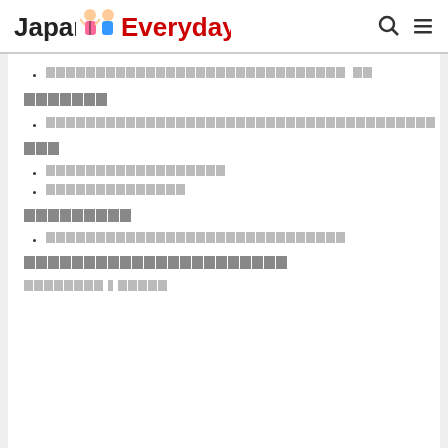Japan Everyday [logo with characters] [search icon] [menu icon]
[Japanese text] [Japanese text short]
[Japanese text - 7 chars]
[Japanese text - long]
[Japanese text - 3 chars]
[Japanese text - medium]
[Japanese text - medium short]
[Japanese text - 9 chars]
[Japanese text - long]
[Japanese text - 22 chars underlined]
[Japanese text - partial]